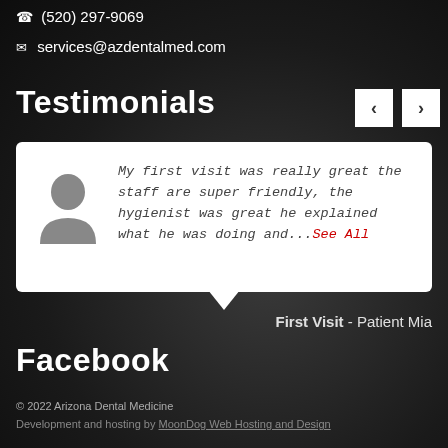☎ (520) 297-9069
✉ services@azdentalmed.com
Testimonials
My first visit was really great the staff are super friendly, the hygienist was great he explained what he was doing and...See All
First Visit - Patient Mia
Facebook
© 2022 Arizona Dental Medicine
Development and hosting by MoonDog Web Hosting and Design